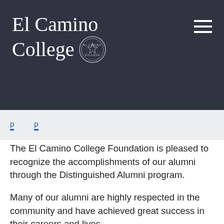El Camino College
The El Camino College Foundation is pleased to recognize the accomplishments of our alumni through the Distinguished Alumni program.
Many of our alumni are highly respected in the community and have achieved great success in their careers and lives.
We are honored to acknowledge these individuals and remember the strong